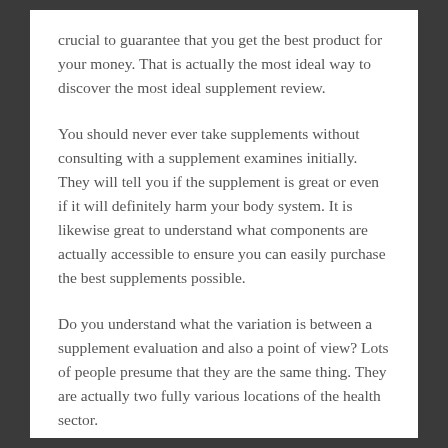crucial to guarantee that you get the best product for your money. That is actually the most ideal way to discover the most ideal supplement review.
You should never ever take supplements without consulting with a supplement examines initially. They will tell you if the supplement is great or even if it will definitely harm your body system. It is likewise great to understand what components are actually accessible to ensure you can easily purchase the best supplements possible.
Do you understand what the variation is between a supplement evaluation and also a point of view? Lots of people presume that they are the same thing. They are actually two fully various locations of the health sector.